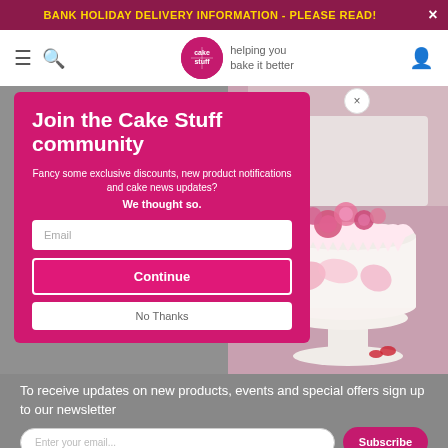BANK HOLIDAY DELIVERY INFORMATION - PLEASE READ!
[Figure (logo): Cake Stuff logo - circular pink logo with cake icon and tagline 'helping you bake it better']
Join the Cake Stuff community
Fancy some exclusive discounts, new product notifications and cake news updates?
We thought so.
Cake Stuff offers a growing range of cake display stands, storage tins and related items? We also offer
Read more
Sign Up to Our Newsletter
To receive updates on new products, events and special offers sign up to our newsletter